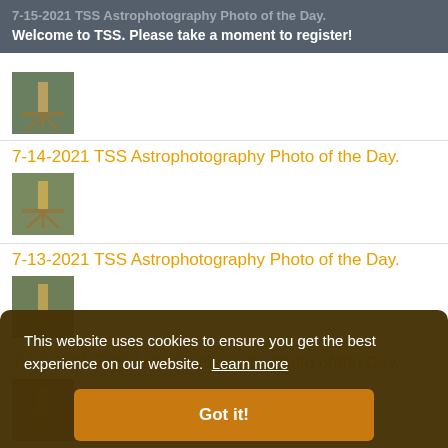7-15-2021 TSS Astrophotography Photo of the Day. Welcome to TSS. Please take a moment to register!
7-14-2021 TSS Astrophotography Photo of the Day.
[Figure (photo): Thumbnail of a telescope/tripod photo]
7-13-2021 TSS Astrophotography Photo of the Day.
[Figure (photo): Thumbnail of a telescope/tripod photo]
7-12-2021 TSS Astrophotography Photo of the Day.
[Figure (photo): Thumbnail of a telescope/tripod photo]
This website uses cookies to ensure you get the best experience on our website. Learn more
Got it!